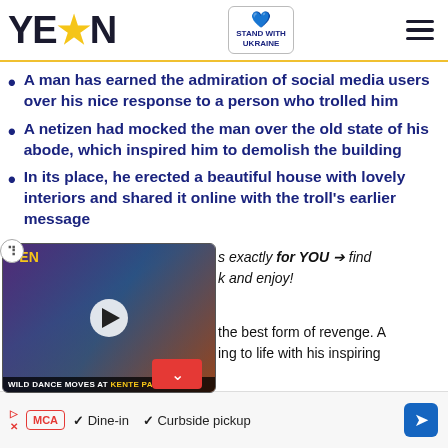YEN — Stand with Ukraine
A man has earned the admiration of social media users over his nice response to a person who trolled him
A netizen had mocked the man over the old state of his abode, which inspired him to demolish the building
In its place, he erected a beautiful house with lovely interiors and shared it online with the troll's earlier message
[Figure (screenshot): Embedded video player showing Wild Dance Moves at Kente Party 2019 with YEN logo, play button, and scroll down button]
...s exactly for YOU → find k and enjoy!
the best form of revenge. A ing to life with his inspiring
[Figure (screenshot): Advertisement banner with MCA logo, Dine-in and Curbside pickup options, and navigation arrow]